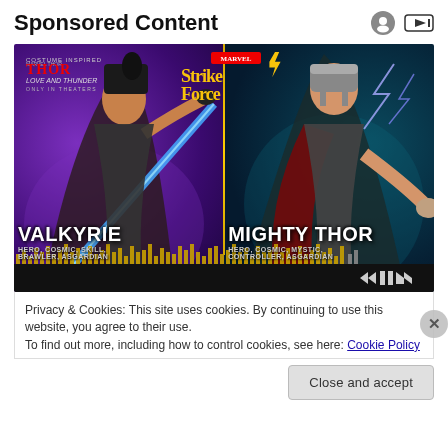Sponsored Content
[Figure (illustration): Marvel Strike Force advertisement featuring Valkyrie (left, with sword) and Mighty Thor (right, with hammer/lightning). Purple and teal background split by golden divider. Thor: Love and Thunder movie tie-in logo in top left. Marvel Strike Force logo in center top. Valkyrie labeled as HERO, COSMIC, SKILL, BRAWLER, ASGARDIAN. Mighty Thor labeled as HERO, COSMIC, MYSTIC, CONTROLLER, ASGARDIAN. Playback controls at bottom right. Gold spike waveform at bottom.]
Privacy & Cookies: This site uses cookies. By continuing to use this website, you agree to their use.
To find out more, including how to control cookies, see here: Cookie Policy
Close and accept